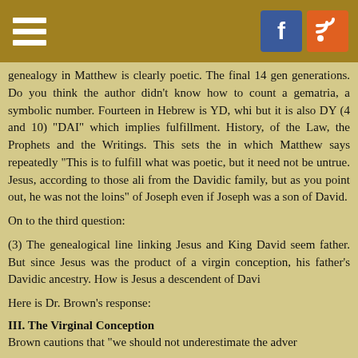genealogy in Matthew is clearly poetic. The final 14 gen generations. Do you think the author didn't know how to count a gematria, a symbolic number. Fourteen in Hebrew is YD, whi but it is also DY (4 and 10) "DAI" which implies fulfillment. History, of the Law, the Prophets and the Writings. This sets the in which Matthew says repeatedly "This is to fulfill what was poetic, but it need not be untrue. Jesus, according to those ali from the Davidic family, but as you point out, he was not the loins" of Joseph even if Joseph was a son of David.
On to the third question:
(3) The genealogical line linking Jesus and King David seem father. But since Jesus was the product of a virgin conception, his father's Davidic ancestry. How is Jesus a descendent of Davi
Here is Dr. Brown's response:
III. The Virginal Conception
Brown cautions that "we should not underestimate the adver